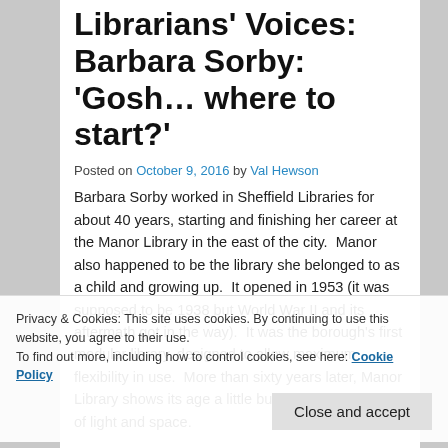Librarians' Voices: Barbara Sorby: 'Gosh… where to start?'
Posted on October 9, 2016 by Val Hewson
Barbara Sorby worked in Sheffield Libraries for about 40 years, starting and finishing her career at the Manor Library in the east of the city.  Manor also happened to be the library she belonged to as a child and growing up.  It opened in 1953 (it was supposed to be 1938 but World War II and its aftermath got in the way).  It was the borough's first modular library, designed to allow maximum flexibility in use.  More than sixty years later, Manor Library shows its age a little but remains a harmony of light and space.
Privacy & Cookies: This site uses cookies. By continuing to use this website, you agree to their use. To find out more, including how to control cookies, see here: Cookie Policy